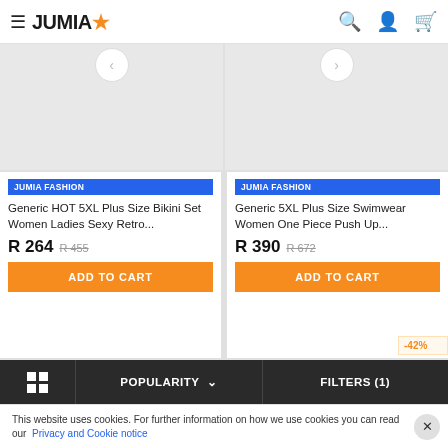JUMIA
[Figure (screenshot): Product image area for Generic HOT 5XL Plus Size Bikini Set Women Ladies Sexy Retro...]
JUMIA FASHION
Generic HOT 5XL Plus Size Bikini Set Women Ladies Sexy Retro...
R 264  R 455
ADD TO CART
[Figure (screenshot): Product image area for Generic 5XL Plus Size Swimwear Women One Piece Push Up...]
JUMIA FASHION
Generic 5XL Plus Size Swimwear Women One Piece Push Up...
R 390  R 672
ADD TO CART
-42%
POPULARITY  FILTERS (1)
This website uses cookies. For further information on how we use cookies you can read our Privacy and Cookie notice